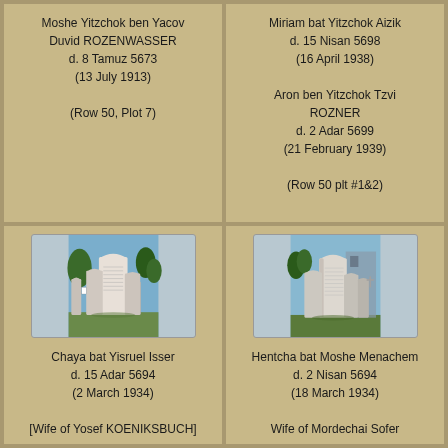Moshe Yitzchok ben Yacov Duvid ROZENWASSER
d. 8 Tamuz 5673
(13 July 1913)

(Row 50, Plot 7)
Miriam bat Yitzchok Aizik
d. 15 Nisan 5698
(16 April 1938)

Aron ben Yitzchok Tzvi ROZNER
d. 2 Adar 5699
(21 February 1939)

(Row 50 plt #1&2)
[Figure (photo): Photograph of gravestones in a Jewish cemetery, showing tall stone markers with Hebrew inscriptions, green trees in background]
Chaya bat Yisruel Isser
d. 15 Adar 5694
(2 March 1934)

[Wife of Yosef KOENIKSBUCH]
[Figure (photo): Photograph of gravestones in a Jewish cemetery, showing multiple stone markers with Hebrew inscriptions]
Hentcha bat Moshe Menachem
d. 2 Nisan 5694
(18 March 1934)

Wife of Mordechai Sofer